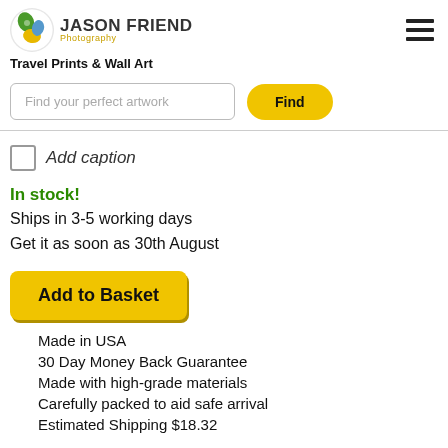[Figure (logo): Jason Friend Photography logo with circular nature icon and bold text]
Travel Prints & Wall Art
[Figure (screenshot): Search bar with placeholder 'Find your perfect artwork' and a yellow 'Find' button]
Add caption
In stock!
Ships in 3-5 working days
Get it as soon as 30th August
[Figure (screenshot): Yellow 'Add to Basket' button]
Made in USA
30 Day Money Back Guarantee
Made with high-grade materials
Carefully packed to aid safe arrival
Estimated Shipping $18.32